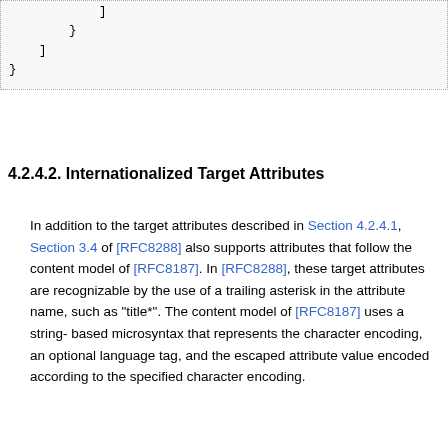]
        }
    ]
}
4.2.4.2. Internationalized Target Attributes
In addition to the target attributes described in Section 4.2.4.1, Section 3.4 of [RFC8288] also supports attributes that follow the content model of [RFC8187]. In [RFC8288], these target attributes are recognizable by the use of a trailing asterisk in the attribute name, such as "title*". The content model of [RFC8187] uses a string-based microsyntax that represents the character encoding, an optional language tag, and the escaped attribute value encoded according to the specified character encoding.